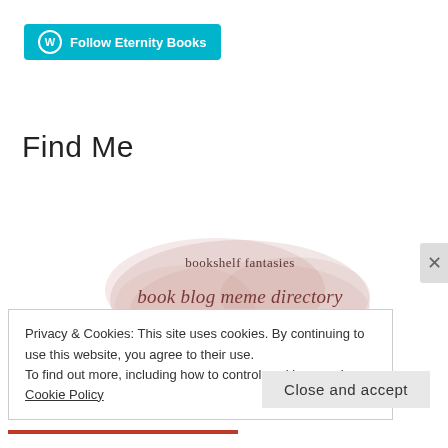[Figure (other): WordPress 'Follow Eternity Books' button with cyan/teal background and WordPress logo icon]
Find Me
[Figure (illustration): Bookshelf Fantasies book blog meme directory badge — watercolor pink/rose blob with text: bookshelf fantasies, book blog meme directory, i'm listed]
Privacy & Cookies: This site uses cookies. By continuing to use this website, you agree to their use.
To find out more, including how to control cookies, see here: Cookie Policy
Close and accept